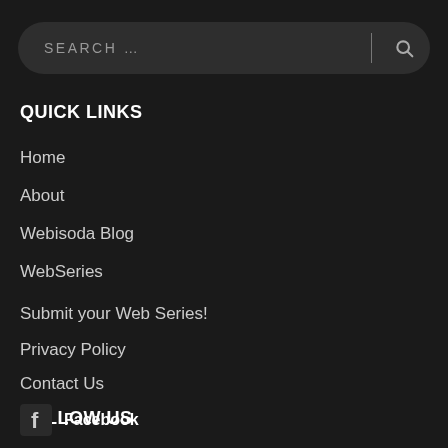[Figure (other): Search bar with placeholder text SEARCH... and a magnifying glass icon]
QUICK LINKS
Home
About
Webisoda Blog
WebSeries
Submit your Web Series!
Privacy Policy
Contact Us
FOLLOW US
Facebook